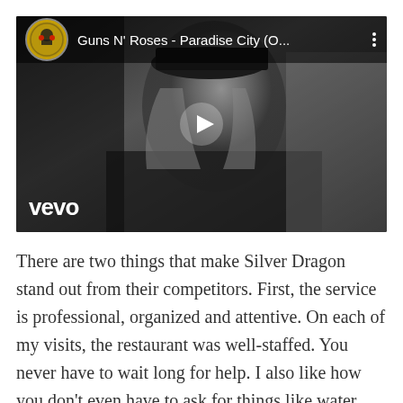[Figure (screenshot): A YouTube/Vevo video thumbnail showing a black and white image of a person (Axl Rose from Guns N' Roses) with a play button overlay. The video title reads 'Guns N' Roses - Paradise City (O...' with a Vevo logo watermark in the bottom left and a channel icon (Guns N' Roses logo) in the top bar.]
There are two things that make Silver Dragon stand out from their competitors. First, the service is professional, organized and attentive.  On each of my visits, the restaurant was well-staffed. You never have to wait long for help. I also like how you don't even have to ask for things like water, hot sauce, tea refills, or a fork.